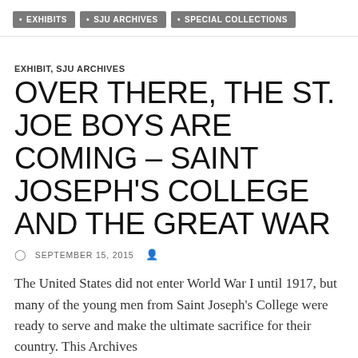EXHIBITS • SJU ARCHIVES • SPECIAL COLLECTIONS
EXHIBIT, SJU ARCHIVES
OVER THERE, THE ST. JOE BOYS ARE COMING – SAINT JOSEPH'S COLLEGE AND THE GREAT WAR
SEPTEMBER 15, 2015
The United States did not enter World War I until 1917, but many of the young men from Saint Joseph's College were ready to serve and make the ultimate sacrifice for their country. This Archives